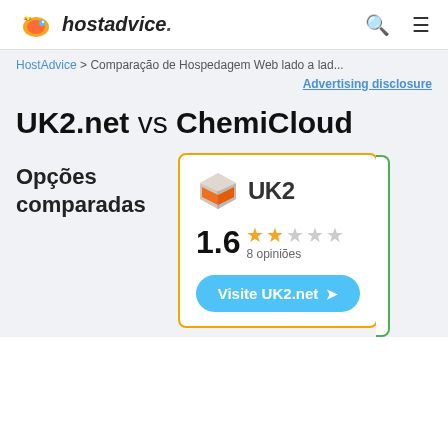hostadvice.
HostAdvice > Comparação de Hospedagem Web lado a lad...
Advertising disclosure
UK2.net vs ChemiCloud
Opções comparadas
[Figure (logo): UK2 logo with orange cube icon and text UK2]
1.6  8 opiniões
Visite UK2.net